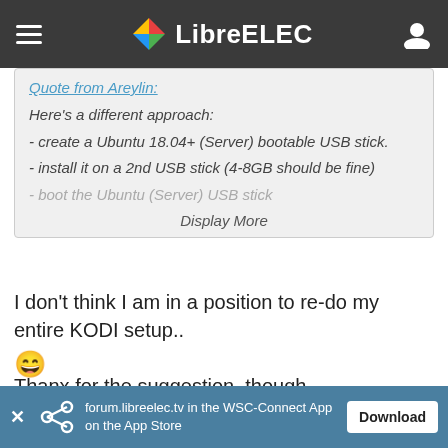LibreELEC
Quote from Areylin:
Here's a different approach:
- create a Ubuntu 18.04+ (Server) bootable USB stick.
- install it on a 2nd USB stick (4-8GB should be fine)
- boot the Ubuntu (Server) USB stick
Display More
I don't think I am in a position to re-do my entire KODI setup.. 😄

Thanx for the suggestion, though..
forum.libreelec.tv in the WSC-Connect App on the App Store  Download